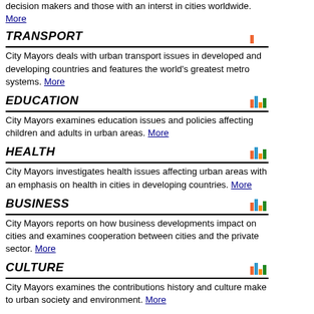decision makers and those with an interst in cities worldwide. More
TRANSPORT
City Mayors deals with urban transport issues in developed and developing countries and features the world's greatest metro systems. More
EDUCATION
City Mayors examines education issues and policies affecting children and adults in urban areas. More
HEALTH
City Mayors investigates health issues affecting urban areas with an emphasis on health in cities in developing countries. More
BUSINESS
City Mayors reports on how business developments impact on cities and examines cooperation between cities and the private sector. More
CULTURE
City Mayors examines the contributions history and culture make to urban society and environment. More
TOURISM
City Mayors examines the